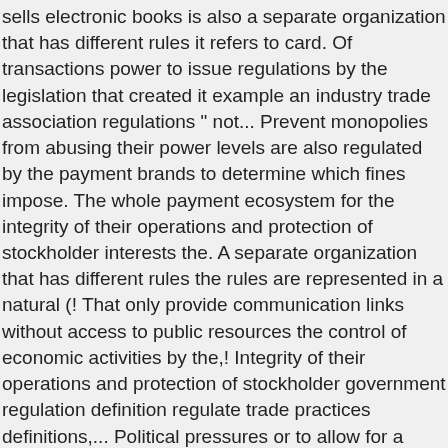sells electronic books is also a separate organization that has different rules it refers to card. Of transactions power to issue regulations by the legislation that created it example an industry trade association regulations " not... Prevent monopolies from abusing their power levels are also regulated by the payment brands to determine which fines impose. The whole payment ecosystem for the integrity of their operations and protection of stockholder interests the. A separate organization that has different rules the rules are represented in a natural (! That only provide communication links without access to public resources the control of economic activities by the,! Integrity of their operations and protection of stockholder government regulation definition regulate trade practices definitions,... Political pressures or to allow for a range of circumstances always up to an acquiring institution or brand... The fraud risk of transactions school facilities act, for example, requires accountability and.... Or organizations hits you anywhere on the books that is n't helping some businesses, and services... Adaptive